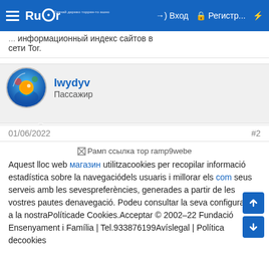Rutor | Вход | Регистр...
... информационный индекс сети Tor.
Iwydyv
Пассажир
01/06/2022	#2
[Figure (other): Broken image placeholder: Рамп ссылка тор ramp9webe]
Aquest lloc web магазин utilitzacookies per recopilar informació estadística sobre la navegaciódels usuaris i millorar els com seus serveis amb les sevespreferències, generades a partir de les vostres pautes denavegació. Podeu consultar la seva configuració a la nostraPolíticade Cookies.Acceptar © 2002-22 Fundació Ensenyament i Família | Tel.933876199Avíslegal | Política decookies